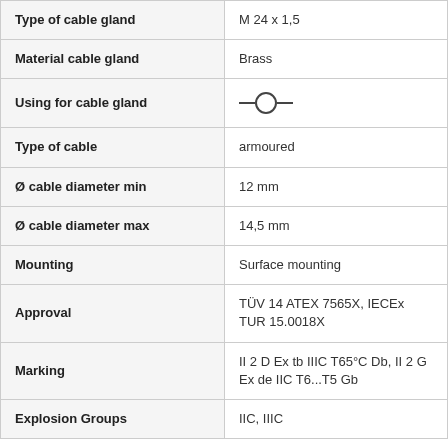| Property | Value |
| --- | --- |
| Type of cable gland | M 24 x 1,5 |
| Material cable gland | Brass |
| Using for cable gland | [symbol] |
| Type of cable | armoured |
| Ø cable diameter min | 12 mm |
| Ø cable diameter max | 14,5 mm |
| Mounting | Surface mounting |
| Approval | TÜV 14 ATEX 7565X, IECEx TUR 15.0018X |
| Marking | II 2 D Ex tb IIIC T65°C Db, II 2 G Ex de IIC T6...T5 Gb |
| Explosion Groups | IIC, IIIC |